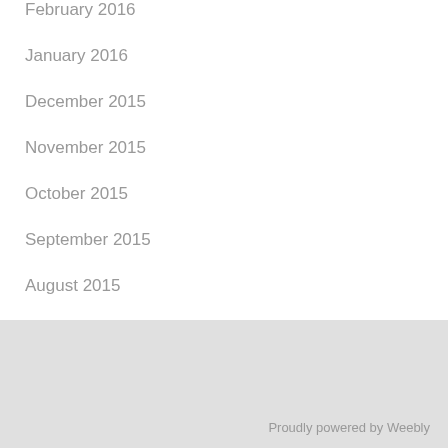February 2016
January 2016
December 2015
November 2015
October 2015
September 2015
August 2015
Proudly powered by Weebly